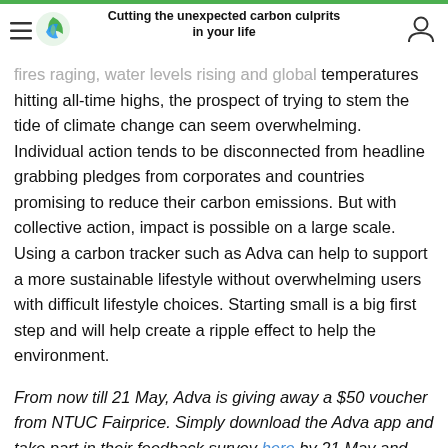Cutting the unexpected carbon culprits in your life
temperatures hitting all-time highs, the prospect of trying to stem the tide of climate change can seem overwhelming. Individual action tends to be disconnected from headline grabbing pledges from corporates and countries promising to reduce their carbon emissions. But with collective action, impact is possible on a large scale. Using a carbon tracker such as Adva can help to support a more sustainable lifestyle without overwhelming users with difficult lifestyle choices. Starting small is a big first step and will help create a ripple effect to help the environment.
From now till 21 May, Adva is giving away a $50 voucher from NTUC Fairprice. Simply download the Adva app and take part in their feedback survey here by 21 May and you might be one of 15 lucky winners.